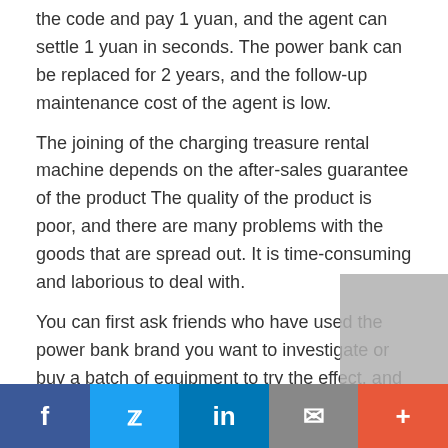the code and pay 1 yuan, and the agent can settle 1 yuan in seconds. The power bank can be replaced for 2 years, and the follow-up maintenance cost of the agent is low. The joining of the charging treasure rental machine depends on the after-sales guarantee of the product The quality of the product is poor, and there are many problems with the goods that are spread out. It is time-consuming and laborious to deal with. You can first ask friends who have used the power bank brand you want to investigate or buy a batch of equipment to try the effect, and then formulate the
f  [twitter]  in  [email]  +